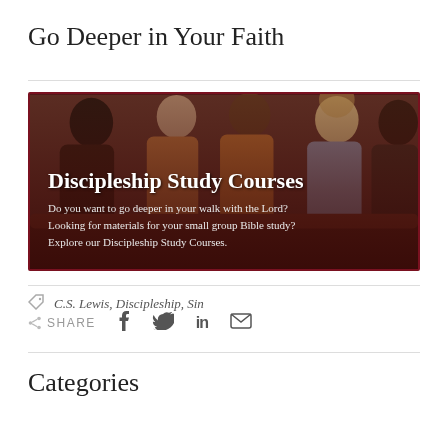Go Deeper in Your Faith
[Figure (photo): Banner image showing a group of young adults sitting together in a Bible study discussion, overlaid with dark red gradient. Text overlay reads 'Discipleship Study Courses' with subtitle 'Do you want to go deeper in your walk with the Lord? Looking for materials for your small group Bible study? Explore our Discipleship Study Courses.']
C.S. Lewis, Discipleship, Sin
SHARE
Categories